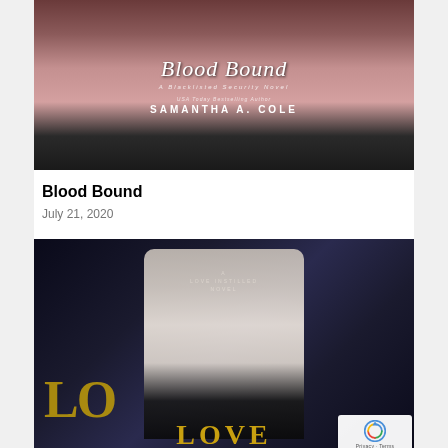[Figure (photo): Book cover for 'Blood Bound' by Samantha A. Cole — a USA Today Bestselling Author. Dark moody cover with cursive title text 'Blood Bound' and subtitle 'A Blacklisted Security Novel'. Author name displayed at bottom.]
Blood Bound
July 21, 2020
[Figure (photo): Book cover for 'Love Instilled Novel' — dark background with a man in a suit adjusting his glasses. Large gold letters 'LO' visible at bottom left and 'LOVE' at the very bottom center.]